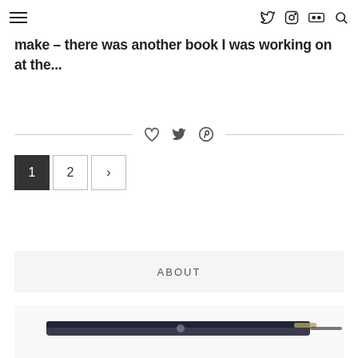[navigation: hamburger menu, twitter icon, instagram icon, flickr icon, search icon]
make – there was another book I was working on at the...
[Figure (other): Horizontal divider line with heart, twitter bird, and pinterest icons centered]
Pagination: 1 (active), 2, > (next)
ABOUT
[Figure (photo): Partial photo of glasses/eyewear item at bottom of page]